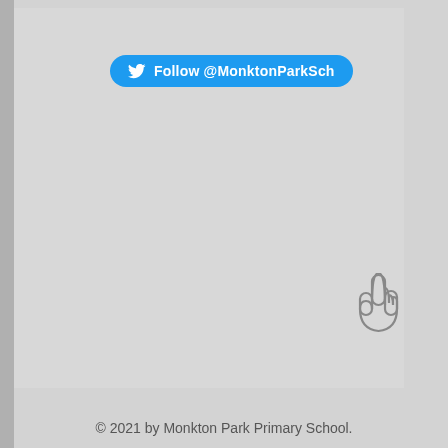[Figure (screenshot): Twitter Follow button with bird logo: 'Follow @MonktonParkSch' on a blue rounded-rectangle button]
[Figure (illustration): Pointing hand / cursor icon (finger pointing upward) in gray outline style]
© 2021 by Monkton Park Primary School.